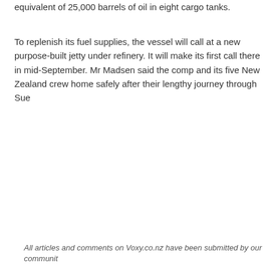equivalent of 25,000 barrels of oil in eight cargo tanks.
To replenish its fuel supplies, the vessel will call at a new purpose-built jetty under refinery. It will make its first call there in mid-September. Mr Madsen said the comp and its five New Zealand crew home safely after their lengthy journey through Sue
All articles and comments on Voxy.co.nz have been submitted by our communit